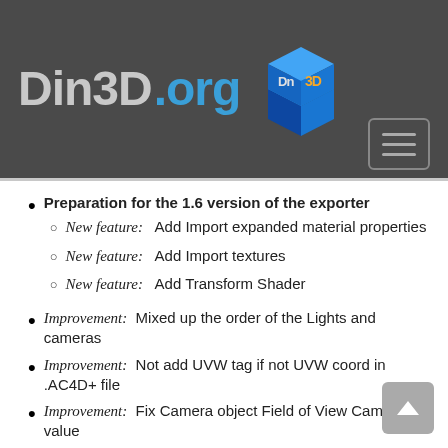[Figure (logo): Din3D.org logo with blue 3D cube icon and text]
Preparation for the 1.6 version of the exporter
New feature: Add Import expanded material properties
New feature: Add Import textures
New feature: Add Transform Shader
Improvement: Mixed up the order of the Lights and cameras
Improvement: Not add UVW tag if not UVW coord in .AC4D+ file
Improvement: Fix Camera object Field of View Camera value
Improvement: Lower name is assigned to the...